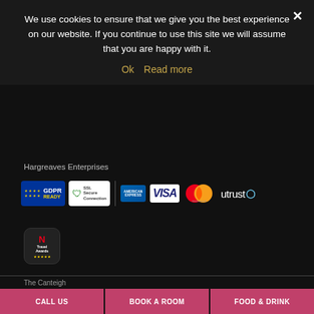We use cookies to ensure that we give you the best experience on our website. If you continue to use this site we will assume that you are happy with it.
Ok   Read more
Hargreaves Enterprises
[Figure (logo): Payment and security badges: GDPR Ready, SSL Secure Connection, American Express, VISA, Mastercard, uTrust]
[Figure (logo): N Travel Awards logo with stars]
The C...anteigh
CALL US
BOOK A ROOM
FOOD & DRINK